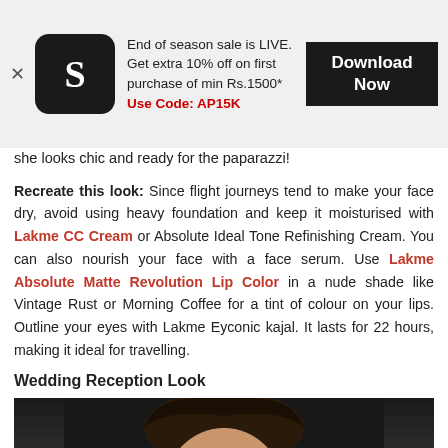[Figure (screenshot): App advertisement banner for a fashion/shopping app. Shows a close (X) button, a black rounded-square app icon with stylized 'S' logo, ad text 'End of season sale is LIVE. Get extra 10% off on first purchase of min Rs.1500* Use Code: AP15K', and a dark 'Download Now' button.]
she looks chic and ready for the paparazzi!
Recreate this look: Since flight journeys tend to make your face dry, avoid using heavy foundation and keep it moisturised with Lakme CC Cream or Absolute Ideal Tone Refinishing Cream. You can also nourish your face with a face serum. Use Lakme Absolute Matte Revolution Lip Color in a nude shade like Vintage Rust or Morning Coffee for a tint of colour on your lips. Outline your eyes with Lakme Eyconic kajal. It lasts for 22 hours, making it ideal for travelling.
Wedding Reception Look
[Figure (photo): Photo of a woman with dark hair pulled back, photographed against a dark background, showing face and upper body.]